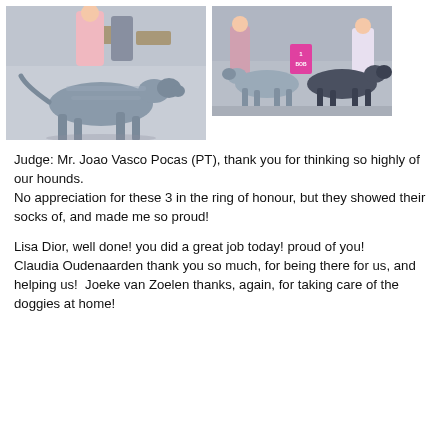[Figure (photo): Left photo: a large grey Irish Wolfhound dog trotting/gaiting at a dog show, with people seated at tables in the background.]
[Figure (photo): Right photo: two large grey/dark Irish Wolfhound dogs standing at a dog show ring, with a pink BOB (Best of Breed) sign visible between them and handlers in the background.]
Judge: Mr. Joao Vasco Pocas (PT), thank you for thinking so highly of our hounds.
No appreciation for these 3 in the ring of honour, but they showed their socks of, and made me so proud!
Lisa Dior, well done! you did a great job today! proud of you!
Claudia Oudenaarden thank you so much, for being there for us, and helping us!  Joeke van Zoelen thanks, again, for taking care of the doggies at home!